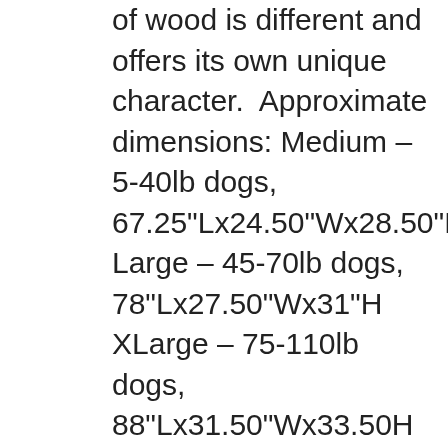of wood is different and offers its own unique character.  Approximate dimensions: Medium – 5-40lb dogs, 67.25"Lx24.50"Wx28.50"H Large – 45-70lb dogs, 78"Lx27.50"Wx31"H XLarge – 75-110lb dogs, 88"Lx31.50"Wx33.50H Note: Our sizes are based on the black plastic crate pans that come in ugly metal crates. This is so you can still use a pan if you choose to, it is not necessary. Check out the FAQ page for answers to most questions. **Because of high demand, our current lead time for shipping is approximately 10-12 weeks. Shipping takes up to 7 business days. Special requests and upgrades to top, hardware and finishes still available. Please contact us for custom orders. Kennels are shipped via Freight with full value insurance included. Standard Shipping is $300-$450 depending on size. Standard Shipping gets the furniture to a Freight receiving facility in your area for you to pick up